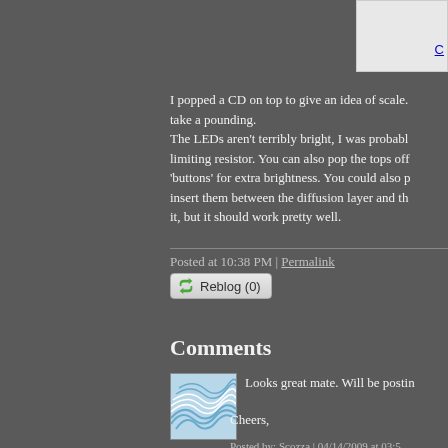I popped a CD on top to give an idea of scale. take a pounding. The LEDs aren't terribly bright, I was probably limiting resistor. You can also pop the tops off 'buttons' for extra brightness. You could also p insert them between the diffusion layer and th it, but it should work pretty well.
Posted at 10:38 PM | Permalink
[Figure (screenshot): Reblog (0) button with recycle/reblog icon]
Comments
[Figure (illustration): Avatar image with blue wave/swirl pattern on light background]
Looks great mate.  Will be postin
Cheers,

Scozza.
Posted by: Scozza | 04/14/2009 at 03:5